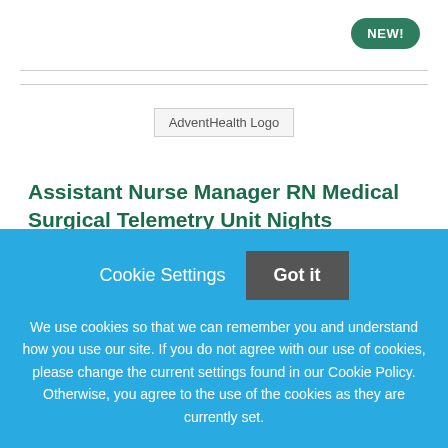[Figure (logo): AdventHealth Logo placeholder image]
Assistant Nurse Manager RN Medical Surgical Telemetry Unit Nights
AdventHealth
Winter Garden, Florida
Cookie Settings   Got it
We use cookies so that we can remember you and understand how you use our site. If you do not agree with our use of cookies, please change the current settings found in our Cookie Policy. Otherwise, you agree to the use of the cookies as they are currently set.